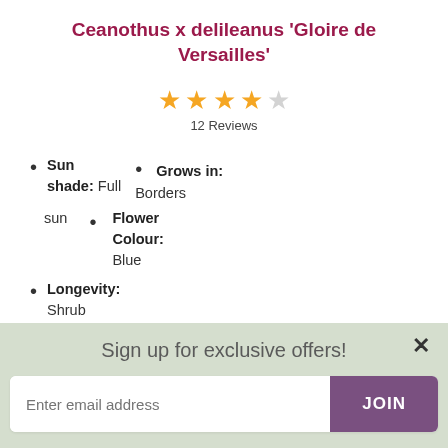Ceanothus x delileanus 'Gloire de Versailles'
[Figure (infographic): 4 out of 5 star rating with 12 Reviews shown below]
Sun shade: Full sun • Grows in: Borders
Flower Colour: Blue
Longevity: Shrub
[Figure (photo): Photograph of the plant with green foliage and orange/brown tones]
Sign up for exclusive offers!
Enter email address
JOIN